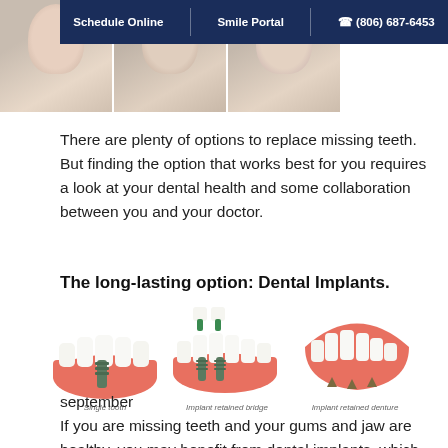[Figure (screenshot): Navigation bar with Schedule Online, Smile Portal, and phone number (806) 687-6453 buttons on dark navy background, with partial dental photo strip at top]
There are plenty of options to replace missing teeth. But finding the option that works best for you requires a look at your dental health and some collaboration between you and your doctor.
The long-lasting option: Dental Implants.
[Figure (illustration): Three dental implant illustrations: Single tooth, Implant retained bridge, Implant retained denture]
september
If you are missing teeth and your gums and jaw are healthy, you may benefit from dental implants, which are replacement teeth that are implanted surgically into the jawbone. With a surgical implant into the...